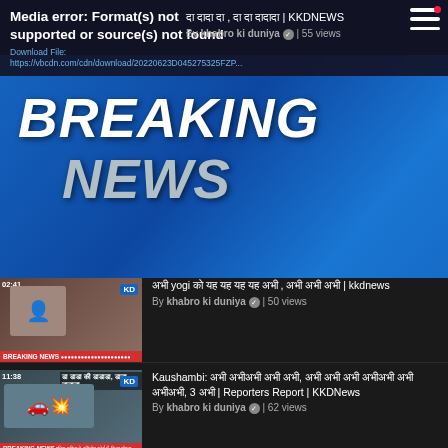[Figure (screenshot): Video player showing media error with blue Breaking News background. Error message: 'Media error: Format(s) not supported or source(s) not found'. Download link shown. Breaking News text overlay visible.]
미래 대한 도 , 어 어 어어어 | KKDNEWS
By khabro ki duniya ✓ | 55 views
[Figure (screenshot): Video thumbnail: man in suit, duration 02:41, Breaking News banner]
अभी yogi को यह यह यह यह अभी , अभी अभी अभी | kkdnews
By khabro ki duniya ✓ | 50 views
[Figure (screenshot): Video thumbnail: crashed vehicle, duration 11:38, Breaking News banner]
Kaushambi: अभी अभीअभी अभी अभी, अभी अभी अभी अभीअभी अभी अभीअभी, 3 अभी | Reporters Report | KKDNews
By khabro ki duniya ✓ | 62 views
[Figure (screenshot): Video thumbnail: politician speaking at rally, duration 02:52, Breaking News banner]
अभीअभीअभी अभी अभी, CM अभी अभी 'अभी'!, अभी 2.0 अभी अभीअभी 'अभीअभी', अभी अभी अभीअभी | KKDNews Live
By khabro ki duniya ✓ | 10 views
[Figure (screenshot): Video thumbnail: crowd/protest, duration 15:52, Dalit Par Barsa Savarn text]
अभी अभी अभी अभीअभी अभी अभी, अभी अभीअभी... || #KKDNews
By khabro ki duniya ✓ | 73 views